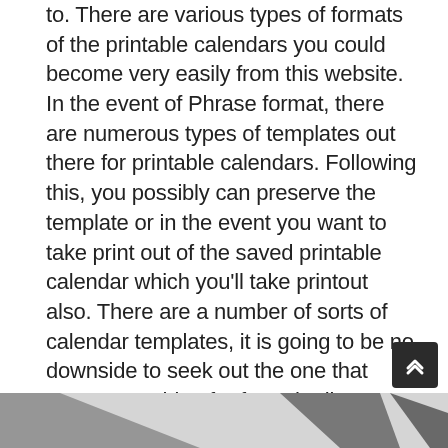to. There are various types of formats of the printable calendars you could become very easily from this website. In the event of Phrase format, there are numerous types of templates out there for printable calendars. Following this, you possibly can preserve the template or in the event you want to take print out of the saved printable calendar which you'll take printout also. There are a number of sorts of calendar templates, it is going to be no downside to seek out the one that you're searching for from the list beneath. There are kinds of templates of the printable calendar 2019 which you can use according to your requirement or need. It's doable to make use of a Coaching Calendar Template, for instance, to assist with scheduling the essential training modules for employees.
[Figure (photo): Partial bottom image showing dark angled shapes against a light background, partially visible at the bottom of the page.]